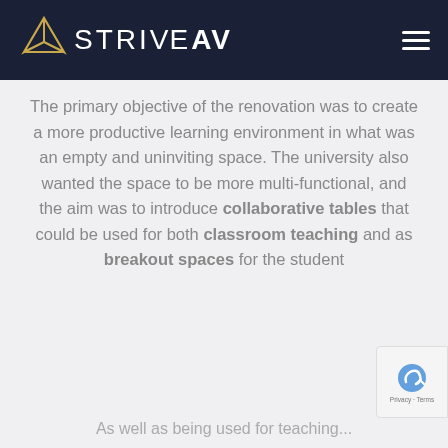STRIVE AV
The primary objective of the renovation was to create a more productive learning environment in what was an empty and uninviting space. The university also wanted the space to be more multi-functional, and the aim was to introduce collaborative tables that could be used for both classroom teaching and as breakout spaces for the student
As well as being used for teaching...